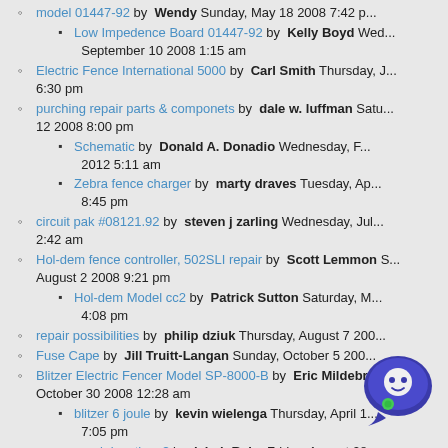model 01447-92 by Wendy Sunday, May 18 2008 7:42 p...
Low Impedence Board 01447-92 by Kelly Boyd Wednesday, September 10 2008 1:15 am
Electric Fence International 5000 by Carl Smith Thursday, J... 6:30 pm
purching repair parts & componets by dale w. luffman Saturday... 12 2008 8:00 pm
Schematic by Donald A. Donadio Wednesday, F... 2012 5:11 am
Zebra fence charger by marty draves Tuesday, Ap... 8:45 pm
circuit pak #08121.92 by steven j zarling Wednesday, Jul... 2:42 am
Hol-dem fence controller, 502SLI repair by Scott Lemmon S... August 2 2008 9:21 pm
Hol-dem Model cc2 by Patrick Sutton Saturday, M... 4:08 pm
repair possibilities by philip dziuk Thursday, August 7 200...
Fuse Cape by Jill Truitt-Langan Sunday, October 5 200...
Blitzer Electric Fencer Model SP-8000-B by Eric Mildebrath ... October 30 2008 12:28 am
blitzer 6 joule by kevin wielenga Thursday, April 1... 7:05 pm
repair locations? by jakub Ryba Friday, August 28... 12:40 am
Printed circuit board replacement by Dec... McGuire Wednesday, December ... pm...
American Farmworks Repair by Norm Bracke... ...sday... 2009 5:12 pm
model SP-4404 by morris a gridleysr Thursday, April 30...